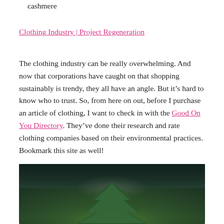cashmere
Clothing Industry | Project Regeneration
The clothing industry can be really overwhelming. And now that corporations have caught on that shopping sustainably is trendy, they all have an angle. But it’s hard to know who to trust. So, from here on out, before I purchase an article of clothing, I want to check in with the Good On You Directory. They’ve done their research and rate clothing companies based on their environmental practices. Bookmark this site as well!
[Figure (photo): Dark close-up photograph of green pine or fir tree branches against a very dark background, blurred bokeh style]